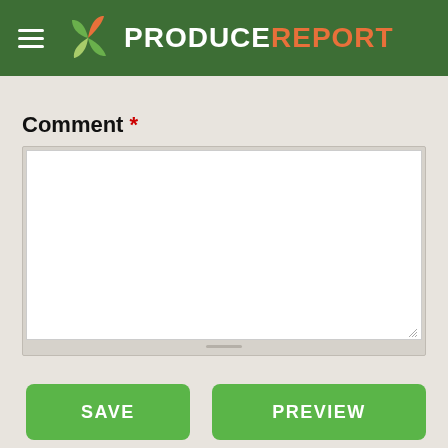PRODUCE REPORT
Comment *
RECOMMENDED READS